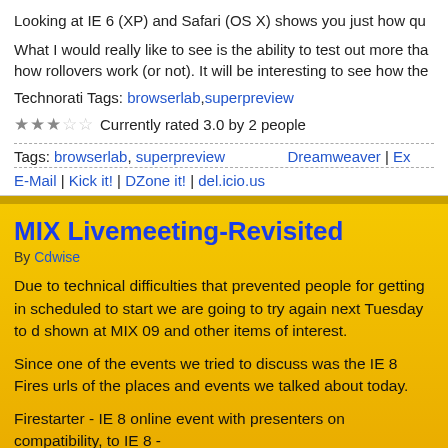Looking at IE 6 (XP) and Safari (OS X) shows you just how qu
What I would really like to see is the ability to test out more tha how rollovers work (or not). It will be interesting to see how the
Technorati Tags: browserlab, superpreview
★★★☆☆ Currently rated 3.0 by 2 people
Tags: browserlab, superpreview    Dreamweaver | Ex
E-Mail | Kick it! | DZone it! | del.icio.us
MIX Livemeeting-Revisited
By Cdwise
Due to technical difficulties that prevented people for getting in scheduled to start we are going to try again next Tuesday to d shown at MIX 09 and other items of interest.
Since one of the events we tried to discuss was the IE 8 Fires urls of the places and events we talked about today.
Firestarter - IE 8 online event with presenters on compatibility, to IE 8 - http://blogs.msdn.com/ie/archive/2009/03/17/ie8-fires